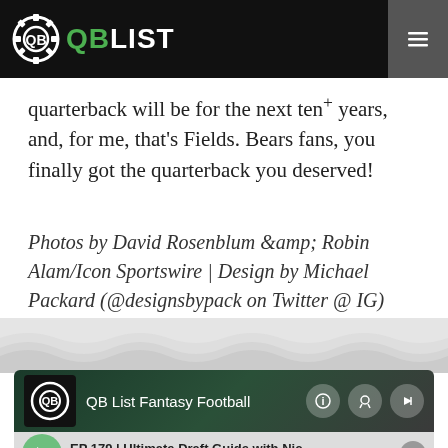QB LIST
quarterback will be for the next ten+ years, and, for me, that's Fields. Bears fans, you finally got the quarterback you deserved!
Photos by David Rosenblum &amp; Robin Alam/Icon Sportswire | Design by Michael Packard (@designsbypack on Twitter @ IG)
[Figure (screenshot): QB List Fantasy Football podcast player widget showing episode EP 179 | Ultimate Draft Guide with Nic, time 00:00 / 1:14:20]